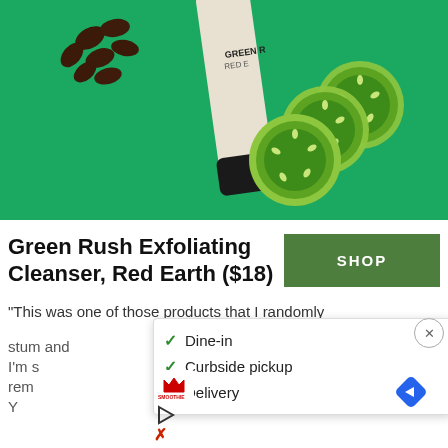[Figure (photo): Product photo of Green Rush Exfoliating Cleanser by Red Earth on a bright green background, with coffee beans on the left and cucumber slices on the right.]
Green Rush Exfoliating Cleanser, Red Earth ($18)
SHOP
“This was one of those products that I randomly stum... and I’m s... rem... Y...
[Figure (screenshot): Popup overlay showing: checkmark Dine-in, checkmark Curbside pickup, X Delivery. Also shows Smoothie King logo, a navigation/directions icon (blue diamond with arrow), a play button icon, and an X icon on the left.]